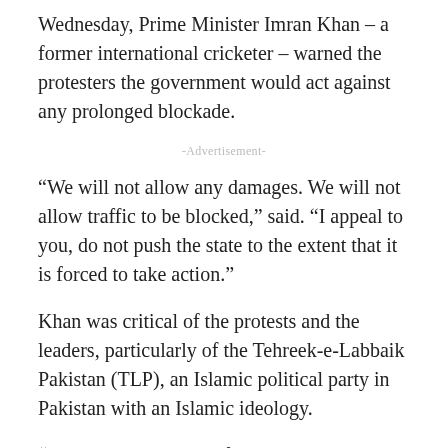Wednesday, Prime Minister Imran Khan – a former international cricketer – warned the protesters the government would act against any prolonged blockade.
-Advertisement-
“We will not allow any damages. We will not allow traffic to be blocked,” said. “I appeal to you, do not push the state to the extent that it is forced to take action.”
Khan was critical of the protests and the leaders, particularly of the Tehreek-e-Labbaik Pakistan (TLP), an Islamic political party in Pakistan with an Islamic ideology.
“They are inciting you for their own political gain, you should not get trapped by them for the sake of